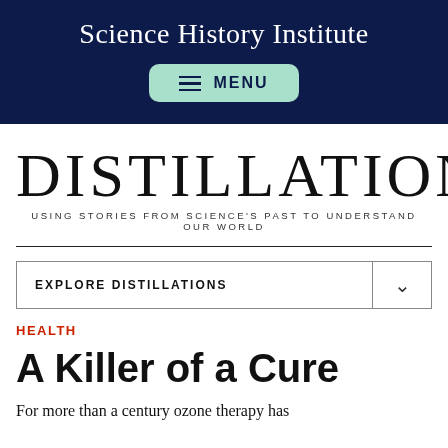Science History Institute
[Figure (other): Menu button with hamburger icon on teal/mint rounded rectangle background]
DISTILLATIONS
USING STORIES FROM SCIENCE'S PAST TO UNDERSTAND OUR WORLD
EXPLORE DISTILLATIONS
HEALTH
A Killer of a Cure
For more than a century ozone therapy has